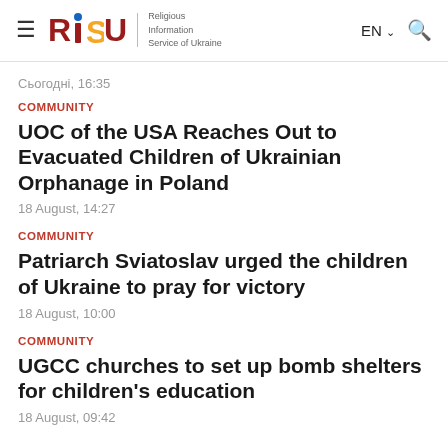RISU – Religious Information Service of Ukraine | EN | Search
Сьогодні, 16:35
COMMUNITY
UOC of the USA Reaches Out to Evacuated Children of Ukrainian Orphanage in Poland
18 August, 14:27
COMMUNITY
Patriarch Sviatoslav urged the children of Ukraine to pray for victory
18 August, 10:00
COMMUNITY
UGCC churches to set up bomb shelters for children's education
18 August, 09:42